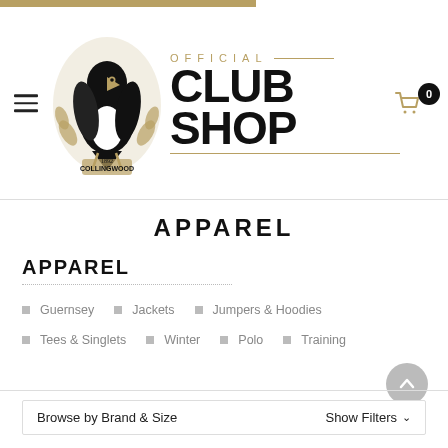[Figure (logo): Collingwood Football Club Official Club Shop logo with magpie mascot and text]
APPAREL
APPAREL
Guernsey
Jackets
Jumpers & Hoodies
Tees & Singlets
Winter
Polo
Training
Browse by Brand & Size
Show Filters